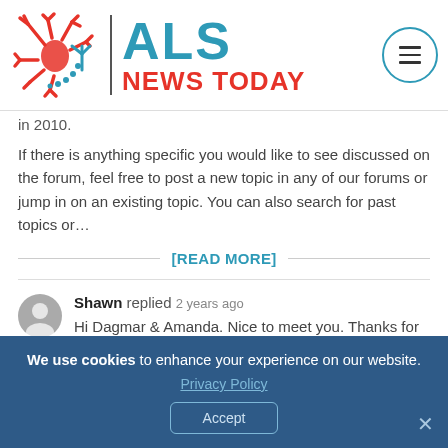[Figure (logo): ALS News Today logo with red neuron icon, vertical divider, teal ALS text and red NEWS TODAY text, and a circular menu button]
in 2010.
If there is anything specific you would like to see discussed on the forum, feel free to post a new topic in any of our forums or jump in on an existing topic. You can also search for past topics or…
[READ MORE]
Shawn replied 2 years ago
Hi Dagmar & Amanda. Nice to meet you. Thanks for the welcome note. Looks like lots of good information and connections here. I'm a few months post Dx and still
We use cookies to enhance your experience on our website. Privacy Policy Accept